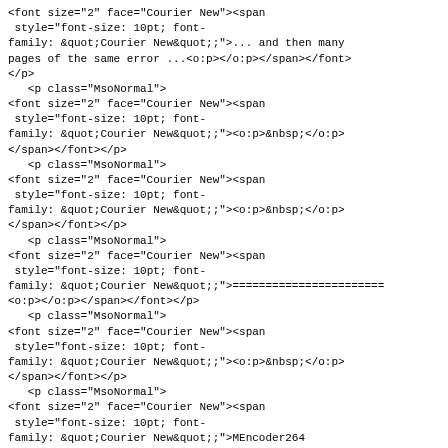<font size="2" face="Courier New"><span
 style="font-size: 10pt; font-
family: &quot;Courier New&quot;;">... and then many
pages of the same error ...<o:p></o:p></span></font>
</p>
   <p class="MsoNormal">
<font size="2" face="Courier New"><span
 style="font-size: 10pt; font-
family: &quot;Courier New&quot;;">
<o:p>&nbsp;</o:p>
</span></font></p>
   <p class="MsoNormal">
<font size="2" face="Courier New"><span
 style="font-size: 10pt; font-
family: &quot;Courier New&quot;;">
<o:p>&nbsp;</o:p>
</span></font></p>
   <p class="MsoNormal">
<font size="2" face="Courier New"><span
 style="font-size: 10pt; font-
family: &quot;Courier New&quot;;">=======================
<o:p></o:p></span></font></p>
   <p class="MsoNormal">
<font size="2" face="Courier New"><span
 style="font-size: 10pt; font-
family: &quot;Courier New&quot;;">
<o:p>&nbsp;</o:p>
</span></font></p>
   <p class="MsoNormal">
<font size="2" face="Courier New"><span
 style="font-size: 10pt; font-
family: &quot;Courier New&quot;;">MEncoder264
output:<o:p></o:p></span></font></p>